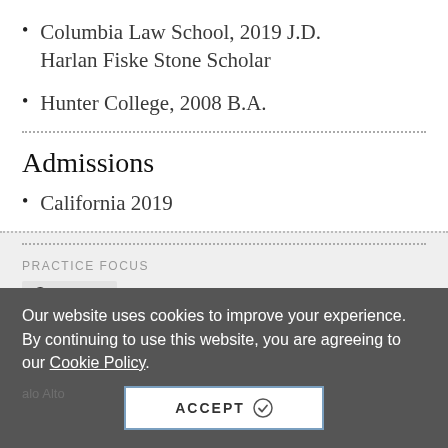Columbia Law School, 2019 J.D. Harlan Fiske Stone Scholar
Hunter College, 2008 B.A.
Admissions
California 2019
PRACTICE FOCUS
Corporate
Our website uses cookies to improve your experience. By continuing to use this website, you are agreeing to our Cookie Policy.